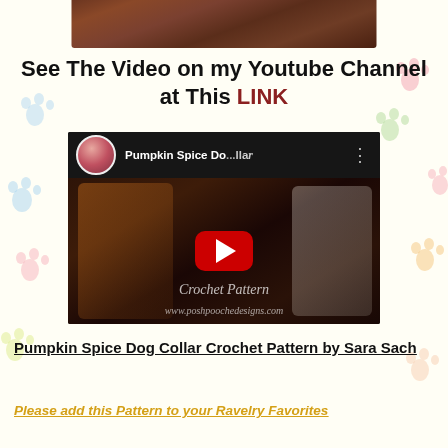[Figure (photo): Brown leather texture strip at top of page]
See The Video on my Youtube Channel at This LINK
[Figure (screenshot): YouTube video thumbnail for 'Pumpkin Spice Do...' showing crochet dog collar items and a small white dog wearing an orange collar. Shows a play button overlay on a dark video frame with text 'Crochet Pattern' and 'www.poshpoochedesigns.com']
Pumpkin Spice Dog Collar Crochet Pattern by Sara Sach
Please add this Pattern to your Ravelry Favorites